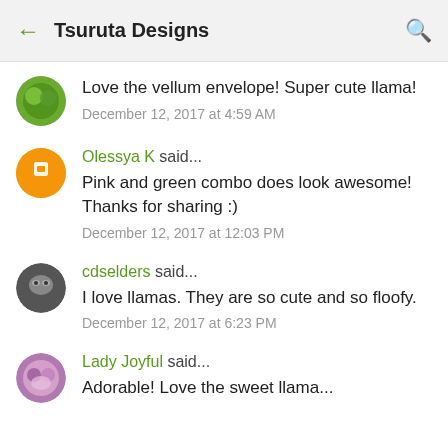Tsuruta Designs
Love the vellum envelope! Super cute llama!
December 12, 2017 at 4:59 AM
Olessya K said...
Pink and green combo does look awesome! Thanks for sharing :)
December 12, 2017 at 12:03 PM
cdselders said...
I love llamas. They are so cute and so floofy.
December 12, 2017 at 6:23 PM
Lady Joyful said...
Adorable! Love the sweet llama...